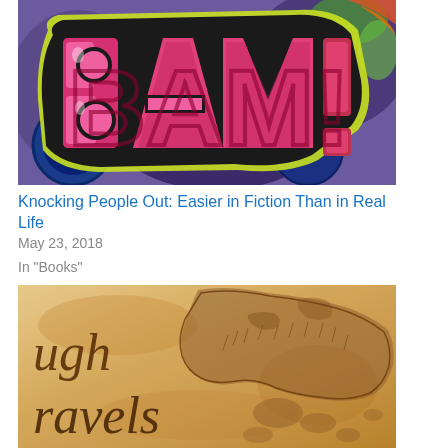[Figure (photo): Graffiti art showing the word BAM! in large pink and red letters with a bright green outline, on a colorful spray-painted wall background]
Knocking People Out: Easier in Fiction Than in Real Life
May 23, 2018
In "Books"
[Figure (photo): Vintage-style fantasy map on aged parchment paper showing landmasses with handwritten text reading 'ugh' and 'ravels' on the left side]